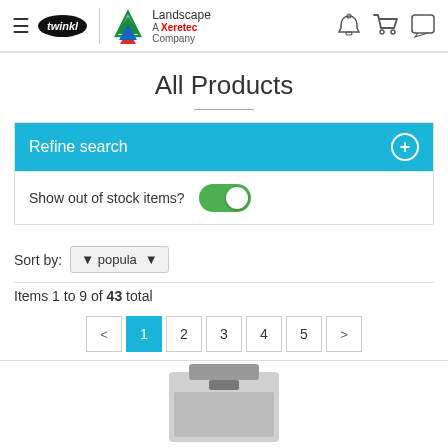[Figure (screenshot): Website header with hamburger menu, Twinkl logo, Landscape/Xeretec company logo, and icons for user account, cart, and chat]
All Products
Refine search
Show out of stock items?
Sort by: ▼ popula ▾
Items 1 to 9 of 43 total
< 1 2 3 4 5 >
[Figure (photo): Partial product image visible at bottom of page]